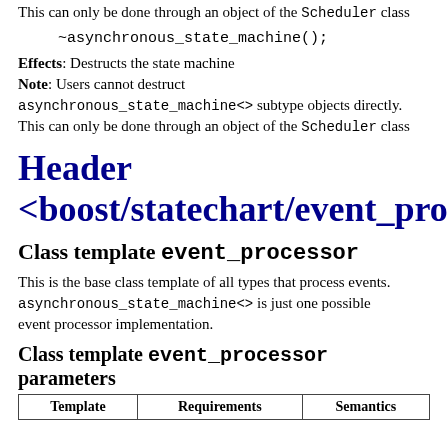This can only be done through an object of the Scheduler class
~asynchronous_state_machine();
Effects: Destructs the state machine
Note: Users cannot destruct asynchronous_state_machine<> subtype objects directly. This can only be done through an object of the Scheduler class
Header <boost/statechart/event_processor
Class template event_processor
This is the base class template of all types that process events. asynchronous_state_machine<> is just one possible event processor implementation.
Class template event_processor parameters
| Template | Requirements | Semantics |
| --- | --- | --- |